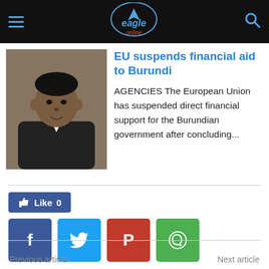Eagle Online
[Figure (photo): Photo of a man in a dark suit, seated, looking to the side]
EU suspends financial aid to Burundi
AGENCIES The European Union has suspended direct financial support for the Burundian government after concluding...
[Figure (infographic): Social media share buttons: Like 0, Facebook, Twitter, Pinterest, WhatsApp]
Previous article    Next article